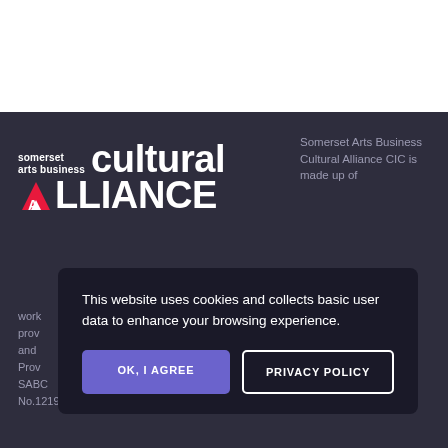[Figure (logo): Somerset Arts Business Cultural Alliance logo — white text on dark background with red triangle A in ALLIANCE]
Somerset Arts Business Cultural Alliance CIC is made up of
This website uses cookies and collects basic user data to enhance your browsing experience.
OK, I AGREE
PRIVACY POLICY
work... prov... and... Prov... SABO... No.12197272.